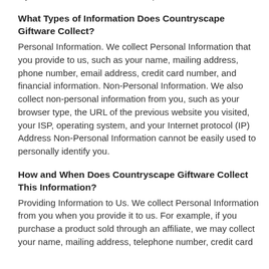carefully to make sure you understand our practices and procedures. You may not be able to receive notices from us if your cookies are not set to accept and/or are disabled.
What Types of Information Does Countryscape Giftware Collect?
Personal Information. We collect Personal Information that you provide to us, such as your name, mailing address, phone number, email address, credit card number, and financial information. Non-Personal Information. We also collect non-personal information from you, such as your browser type, the URL of the previous website you visited, your ISP, operating system, and your Internet protocol (IP) Address Non-Personal Information cannot be easily used to personally identify you.
How and When Does Countryscape Giftware Collect This Information?
Providing Information to Us. We collect Personal Information from you when you provide it to us. For example, if you purchase a product sold through an affiliate, we may collect your name, mailing address, telephone number, credit card